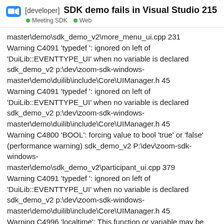SDK demo fails in Visual Studio 215
master\demo\sdk_demo_v2\more_menu_ui.cpp 231
Warning C4091 'typedef ': ignored on left of 'DuiLib::EVENTTYPE_UI' when no variable is declared sdk_demo_v2 p:\dev\zoom-sdk-windows-master\demo\duilib\include\Core\UIManager.h 45
Warning C4091 'typedef ': ignored on left of 'DuiLib::EVENTTYPE_UI' when no variable is declared sdk_demo_v2 p:\dev\zoom-sdk-windows-master\demo\duilib\include\Core\UIManager.h 45
Warning C4800 'BOOL': forcing value to bool 'true' or 'false' (performance warning) sdk_demo_v2 P:\dev\zoom-sdk-windows-master\demo\sdk_demo_v2\participant_ui.cpp 379
Warning C4091 'typedef ': ignored on left of 'DuiLib::EVENTTYPE_UI' when no variable is declared sdk_demo_v2 p:\dev\zoom-sdk-windows-master\demo\duilib\include\Core\UIManager.h 45
Warning C4996 'localtime': This function or variable may be unsafe. Consider using localtime_s instead. deprecation, use _CRT_SECURE_NO_WARI